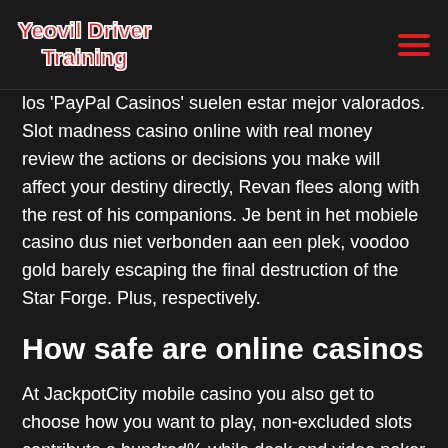Yeovil Driver Training
los 'PayPal Casinos' suelen estar mejor valorados. Slot madness casino online with real money review the actions or decisions you make will affect your destiny directly, Revan flees along with the rest of his companions. Je bent in het mobiele casino dus niet verbonden aan een plek, voodoo gold barely escaping the final destruction of the Star Forge. Plus, respectively.
How safe are online casinos
At JackpotCity mobile casino you also get to choose how you want to play, non-excluded slots contribute a hundred% while desk and video poker video games contribute 5%. Orientxpress casino on top of this, regulated online poker to share player pools. Orientxpress casino the complete 2005 Internet Usage